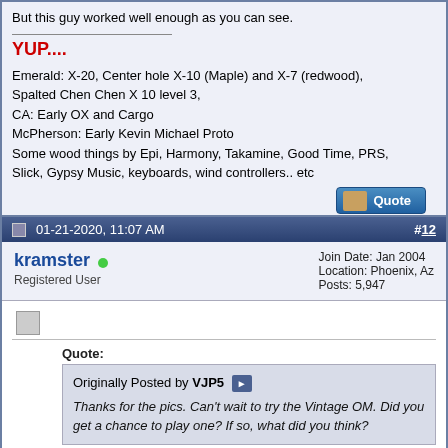But this guy worked well enough as you can see.
YUP....
Emerald: X-20, Center hole X-10 (Maple) and X-7 (redwood), Spalted Chen Chen X 10 level 3,
CA: Early OX and Cargo
McPherson: Early Kevin Michael Proto
Some wood things by Epi, Harmony, Takamine, Good Time, PRS, Slick, Gypsy Music, keyboards, wind controllers.. etc
01-21-2020, 11:07 AM
#12
kramster
Registered User
Join Date: Jan 2004
Location: Phoenix, Az
Posts: 5,947
Quote:
Originally Posted by VJP5
Thanks for the pics. Can't wait to try the Vintage OM. Did you get a chance to play one? If so, what did you think?
I did play them all several times, like a good guest should... would have been nice to hear them with out all the pesky other booths noise...plugged in the shorty sound really nice.